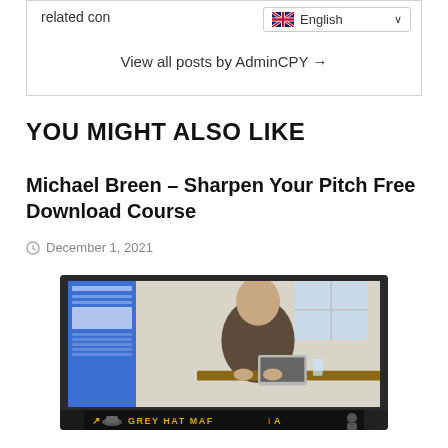related con
English (language selector)
View all posts by AdminCPY →
YOU MIGHT ALSO LIKE
Michael Breen – Sharpen Your Pitch Free Download Course
December 1, 2021
[Figure (screenshot): Screenshot of a course website showing a man sitting at a desk with a laptop, with a sidebar panel in blue and main content area. A Grey Hat Mafia banner appears at the bottom.]